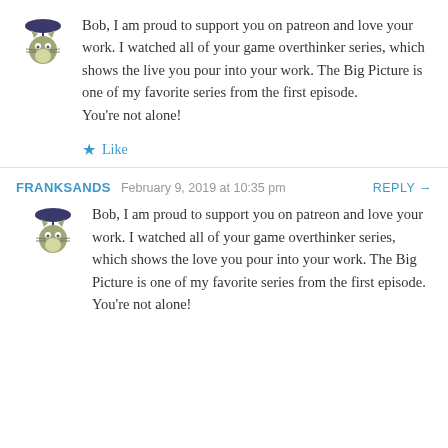[Figure (illustration): Totoro avatar with umbrella, pixel art style]
Bob, I am proud to support you on patreon and love your work. I watched all of your game overthinker series, which shows the live you pour into your work. The Big Picture is one of my favorite series from the first episode. You're not alone!
★ Like
FRANKSANDS  February 9, 2019 at 10:35 pm  REPLY →
[Figure (illustration): Totoro avatar with umbrella, pixel art style]
Bob, I am proud to support you on patreon and love your work. I watched all of your game overthinker series, which shows the love you pour into your work. The Big Picture is one of my favorite series from the first episode. You're not alone!